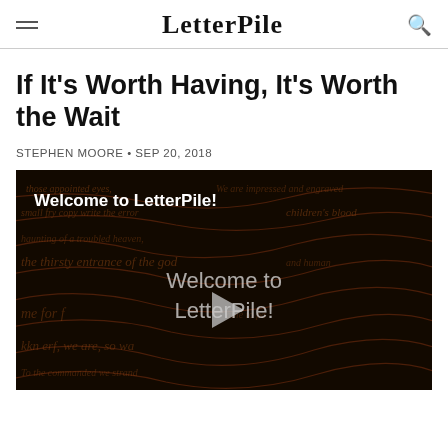LetterPile
If It's Worth Having, It's Worth the Wait
STEPHEN MOORE • SEP 20, 2018
[Figure (screenshot): Video thumbnail with dark background showing handwritten script text, a play button in the center, and text 'Welcome to LetterPile!' overlaid at top and center.]